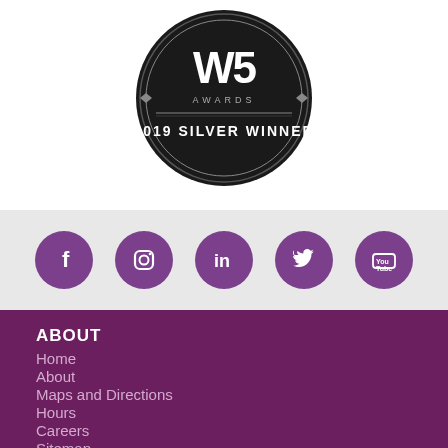[Figure (logo): W5 Awards 2019 Silver Winner badge — circular black badge with stylized W5 logo and text '2019 SILVER WINNER']
[Figure (infographic): Row of 5 purple circular social media icons: Facebook, Instagram, LinkedIn, Twitter, YouTube]
ABOUT
Home
About
Maps and Directions
Hours
Careers
Sitemap